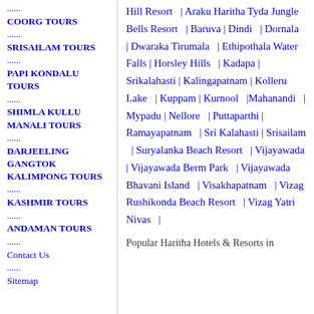......
COORG TOURS
......
SRISAILAM TOURS
......
PAPI KONDALU TOURS
......
SHIMLA KULLU MANALI TOURS
......
DARJEELING GANGTOK KALIMPONG TOURS
......
KASHMIR TOURS
......
ANDAMAN TOURS
......
Contact Us
......
Sitemap
Hill Resort | Araku Haritha Tyda Jungle Bells Resort | Baruva | Dindi | Dornala | Dwaraka Tirumala | Ethipothala Water Falls | Horsley Hills | Kadapa | Srikalahasti | Kalingapatnam | Kolleru Lake | Kuppam | Kurnool |Mahanandi | Mypadu | Nellore | Puttaparthi | Ramayapatnam | Sri Kalahasti | Srisailam | Suryalanka Beach Resort | Vijayawada | Vijayawada Berm Park | Vijayawada Bhavani Island | Visakhapatnam | Vizag Rushikonda Beach Resort | Vizag Yatri Nivas |
Popular Haritha Hotels & Resorts in